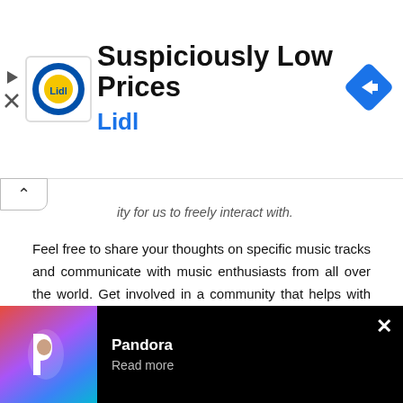[Figure (screenshot): Lidl advertisement banner with Lidl yellow logo on left, 'Suspiciously Low Prices' headline in bold black, 'Lidl' subheading in blue, and a blue diamond navigation arrow icon on the right. Play and X buttons on far left edge.]
...ity for us to freely interact with.
Feel free to share your thoughts on specific music tracks and communicate with music enthusiasts from all over the world. Get involved in a community that helps with software and enjoy our musical experience to the fullest.
Resso features
Here are all the unique features the app offers:
[Figure (screenshot): Dark purple/navy banner with bold white text reading 'CREATE LYRICS']
[Figure (screenshot): Pandora advertisement at bottom: black background, Pandora colorful P logo on left, 'Pandora' in bold white and 'Read more' in gray, X close button on right.]